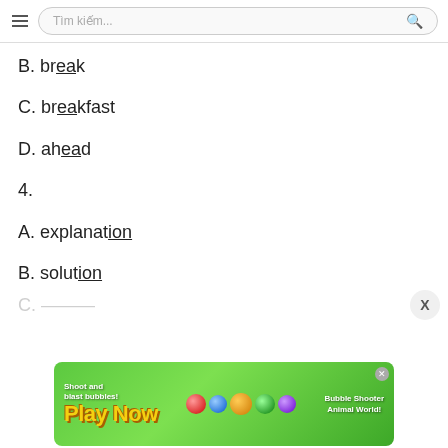Tìm kiếm...
B. break
C. breakfast
D. ahead
4.
A. explaination
B. solution
[Figure (screenshot): Mobile app advertisement banner for a bubble shooter game titled 'Play Now - Bubble Shooter Animal World', with green background and cartoon animal character]